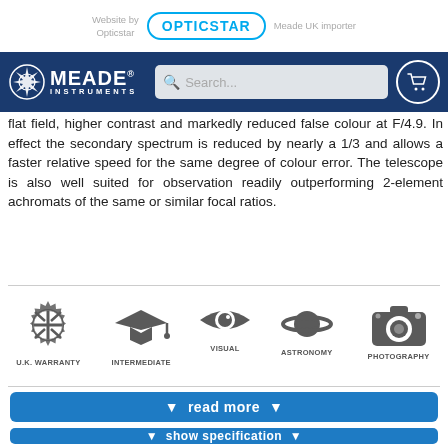Website by Opticstar | OPTICSTAR | Meade UK importer
[Figure (screenshot): Meade Instruments navigation bar with logo, search box, and cart icon on dark blue background]
flat field, higher contrast and markedly reduced false colour at F/4.9. In effect the secondary spectrum is reduced by nearly a 1/3 and allows a faster relative speed for the same degree of colour error. The telescope is also well suited for observation readily outperforming 2-element achromats of the same or similar focal ratios.
[Figure (infographic): Five icons with labels: U.K. WARRANTY (badge with UK flag), INTERMEDIATE (graduation cap), VISUAL (eye), ASTRONOMY (planet with rings), PHOTOGRAPHY (camera)]
▼  read more  ▼
▼  show specification  ▼